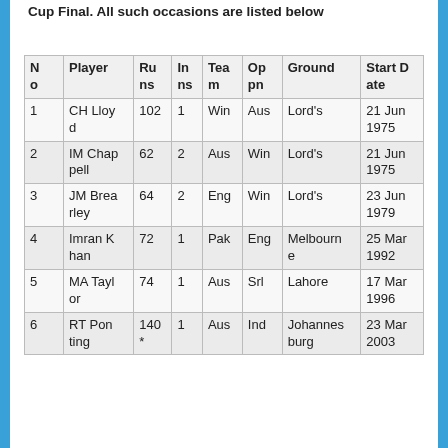Cup Final. All such occasions are listed below
| No | Player | Runs | Inns | Team | Oppn | Ground | Start Date |
| --- | --- | --- | --- | --- | --- | --- | --- |
| 1 | CH Lloyd | 102 | 1 | Win | Aus | Lord's | 21 Jun 1975 |
| 2 | IM Chappell | 62 | 2 | Aus | Win | Lord's | 21 Jun 1975 |
| 3 | JM Brearley | 64 | 2 | Eng | Win | Lord's | 23 Jun 1979 |
| 4 | Imran Khan | 72 | 1 | Pak | Eng | Melbourne | 25 Mar 1992 |
| 5 | MA Taylor | 74 | 1 | Aus | Srl | Lahore | 17 Mar 1996 |
| 6 | RT Ponting | 140* | 1 | Aus | Ind | Johannesburg | 23 Mar 2003 |